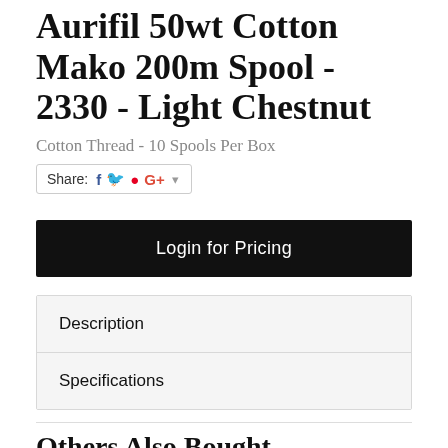Aurifil 50wt Cotton Mako 200m Spool - 2330 - Light Chestnut
Cotton Thread - 10 Spools Per Box
Share: [Facebook] [Twitter] [Pinterest] [Google+] ▾
Login for Pricing
Description
Specifications
Others Also Bought
Aurifil 50wt Cotton Mako' 200m Spool - 2320 - Ligh